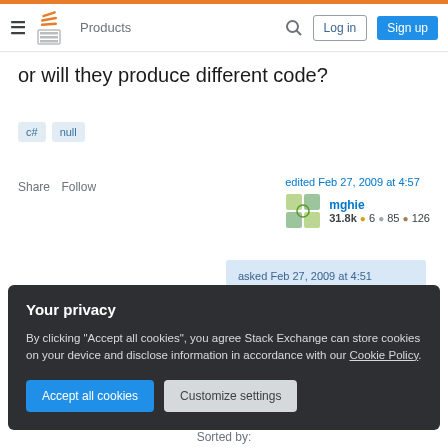≡  [Stack Overflow logo]  Products    🔍  Log in  Sign up
or will they produce different code?
c#
null
Share  Follow
edited Feb 27, 2009 at 4:57
mghie
31.8k ● 6 ● 85 ● 126
asked Feb 27, 2009 at 4:51
peter
Your privacy
By clicking "Accept all cookies", you agree Stack Exchange can store cookies on your device and disclose information in accordance with our Cookie Policy.
Accept all cookies    Customize settings
Sorted by: